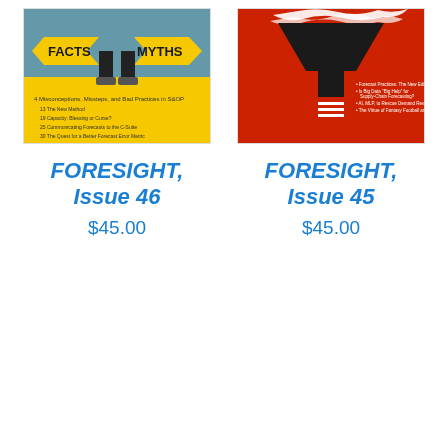[Figure (photo): Cover of Foresight Issue 46 - yellow background with 'FACTS' and 'MYTHS' arrows and feet standing at a crossroads]
FORESIGHT, Issue 46
$45.00
[Figure (photo): Cover of Foresight Issue 45 - red background with a funnel/filter graphic in black and white]
FORESIGHT, Issue 45
$45.00